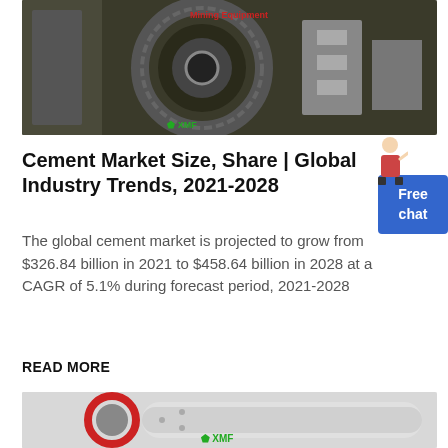[Figure (photo): Industrial cement mill/grinding equipment — large gear wheel mechanism, dark green/grey industrial setting with XMF Mining Equipment branding]
Cement Market Size, Share | Global Industry Trends, 2021-2028
The global cement market is projected to grow from $326.84 billion in 2021 to $458.64 billion in 2028 at a CAGR of 5.1% during forecast period, 2021-2028
READ MORE
[Figure (photo): Close-up of large industrial ball mill gear mechanism, grey/red components, XMF branding visible at bottom]